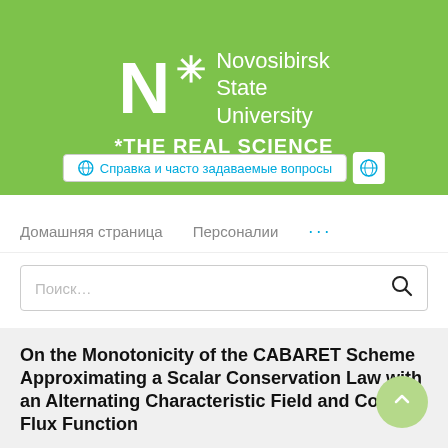[Figure (logo): Novosibirsk State University logo with green background, white N letter, asterisk, university name text, and tagline *THE REAL SCIENCE]
🌐 Справка и часто задаваемые вопросы
Домашняя страница   Персоналии   ...
Поиск…
On the Monotonicity of the CABARET Scheme Approximating a Scalar Conservation Law with an Alternating Characteristic Field and Convex Flux Function